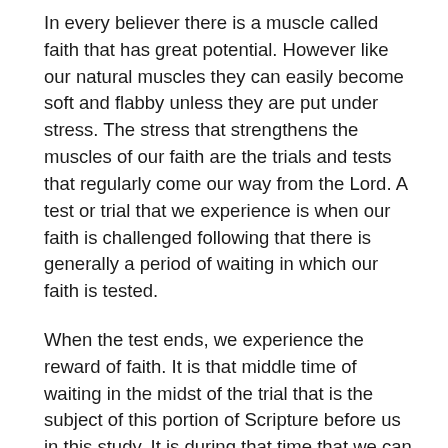In every believer there is a muscle called faith that has great potential. However like our natural muscles they can easily become soft and flabby unless they are put under stress. The stress that strengthens the muscles of our faith are the trials and tests that regularly come our way from the Lord. A test or trial that we experience is when our faith is challenged following that there is generally a period of waiting in which our faith is tested.
When the test ends, we experience the reward of faith. It is that middle time of waiting in the midst of the trial that is the subject of this portion of Scripture before us in this study. It is during that time that we can measure ourselves to see if we’re growing or shrinking.
Verse 32 was written to Jewish believers who were under incredible stress and pressures; trials that generally pale in comparison to ours. The word “conflict” in the original language is the word from which we get our word “athletics” and “athlete”. It is an allusion to the gladiators